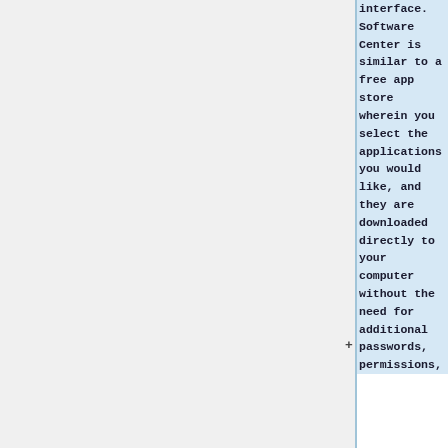interface. Software Center is similar to a free app store wherein you select the applications you would like, and they are downloaded directly to your computer without the need for additional passwords, permissions,